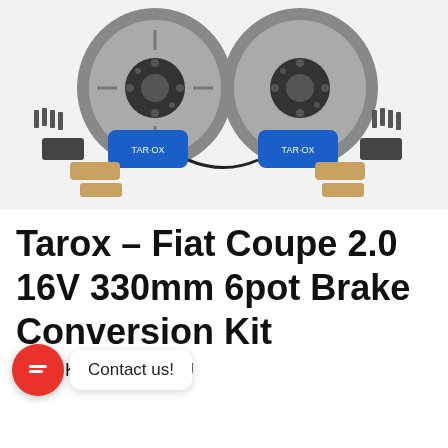[Figure (photo): Product photo of a Tarox brake conversion kit showing two large slotted brake discs, two blue 6-piston Tarox calipers, brake pads (tan/copper colored), brake lines, mounting hardware and bolts on a white background.]
Tarox – Fiat Coupe 2.0 16V 330mm 6pot Brake Conversion Kit
SKU: KMFI0544-COU